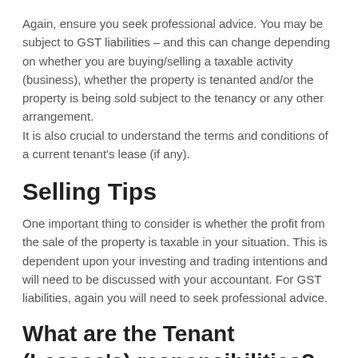Again, ensure you seek professional advice. You may be subject to GST liabilities – and this can change depending on whether you are buying/selling a taxable activity (business), whether the property is tenanted and/or the property is being sold subject to the tenancy or any other arrangement.
It is also crucial to understand the terms and conditions of a current tenant's lease (if any).
Selling Tips
One important thing to consider is whether the profit from the sale of the property is taxable in your situation. This is dependent upon your investing and trading intentions and will need to be discussed with your accountant. For GST liabilities, again you will need to seek professional advice.
What are the Tenant (Lessee's) responsibilities?